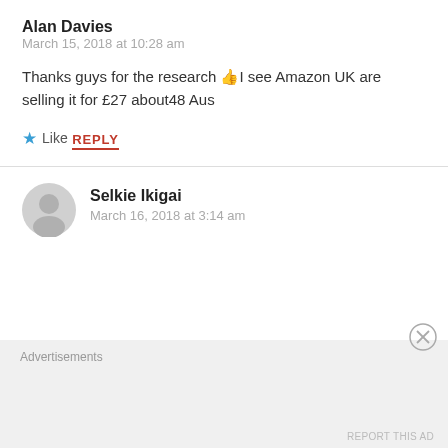Alan Davies
March 15, 2018 at 10:28 am
Thanks guys for the research 👍I see Amazon UK are selling it for £27 about48 Aus
★ Like
REPLY
Selkie Ikigai
March 16, 2018 at 3:14 am
Advertisements